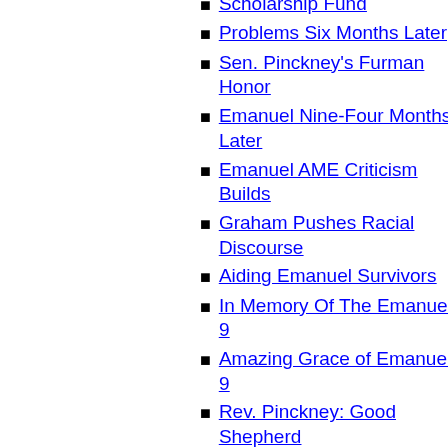Scholarship Fund
Problems Six Months Later
Sen. Pinckney's Furman Honor
Emanuel Nine-Four Months Later
Emanuel AME Criticism Builds
Graham Pushes Racial Discourse
Aiding Emanuel Survivors
In Memory Of The Emanuel 9
Amazing Grace of Emanuel 9
Rev. Pinckney: Good Shepherd
Community Rallies For Emanuel
Achieving Change After Emanuel